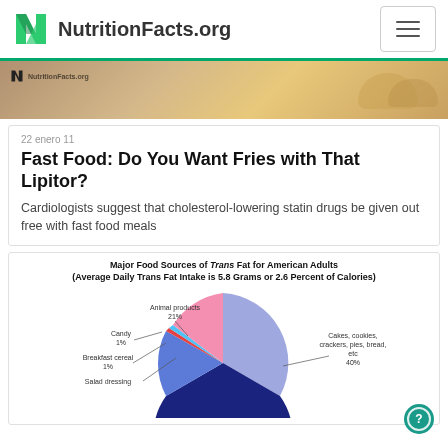NutritionFacts.org
[Figure (photo): Hero image showing food items with NutritionFacts.org watermark]
22 enero 11
Fast Food: Do You Want Fries with That Lipitor?
Cardiologists suggest that cholesterol-lowering statin drugs be given out free with fast food meals
[Figure (pie-chart): Major Food Sources of Trans Fat for American Adults (Average Daily Trans Fat Intake is 5.8 Grams or 2.6 Percent of Calories)]